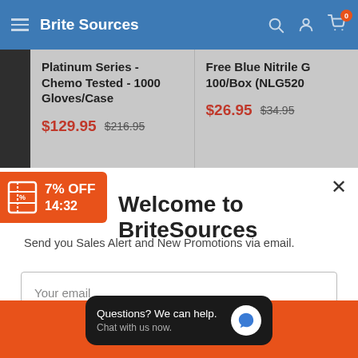Brite Sources
Platinum Series - Chemo Tested - 1000 Gloves/Case $129.95 $216.95
Free Blue Nitrile G... 100/Box (NLG520... $26.95 $34.95
[Figure (screenshot): Orange coupon badge showing 7% OFF and countdown timer 14:32]
Welcome to BriteSources
Send you Sales Alert and New Promotions via email.
Your email
Questions? We can help. Chat with us now.